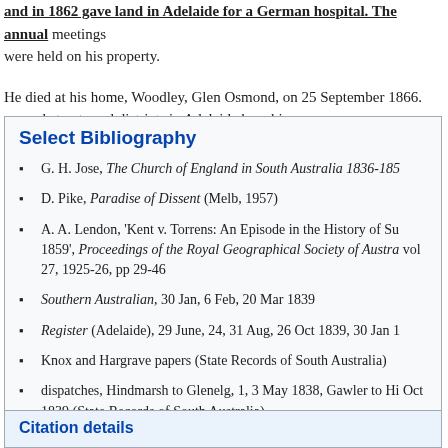and in 1862 gave land in Adelaide for a German hospital. His annual meetings were held on his property.
He died at his home, Woodley, Glen Osmond, on 25 September 1866. several streets and districts in Adelaide bear his name.
Select Bibliography
G. H. Jose, The Church of England in South Australia 1836-185
D. Pike, Paradise of Dissent (Melb, 1957)
A. A. Lendon, ‘Kent v. Torrens: An Episode in the History of Su 1859’, Proceedings of the Royal Geographical Society of Austra vol 27, 1925-26, pp 29-46
Southern Australian, 30 Jan, 6 Feb, 20 Mar 1839
Register (Adelaide), 29 June, 24, 31 Aug, 26 Oct 1839, 30 Jan 1
Knox and Hargrave papers (State Records of South Australia)
dispatches, Hindmarsh to Glenelg, 1, 3 May 1838, Gawler to Hi Oct 1839 (State Records of South Australia).
Citation details